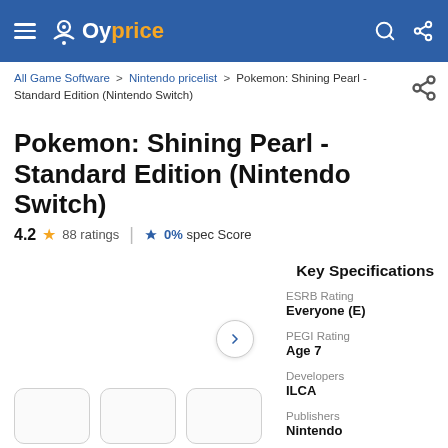Oyprice
All Game Software > Nintendo pricelist > Pokemon: Shining Pearl - Standard Edition (Nintendo Switch)
Pokemon: Shining Pearl - Standard Edition (Nintendo Switch)
4.2 ★ 88 ratings | 🏆 0% spec Score
Key Specifications
ESRB Rating: Everyone (E)
PEGI Rating: Age 7
Developers: ILCA
Publishers: Nintendo